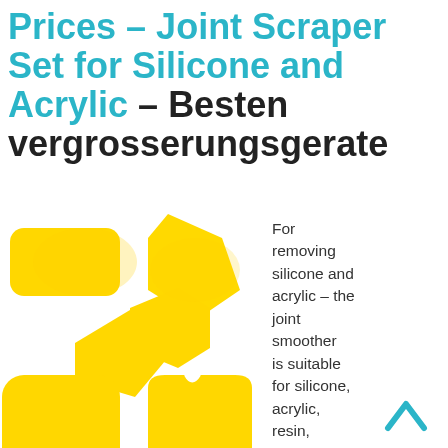Prices – Joint Scraper Set for Silicone and Acrylic – Besten vergrosserungsgerate
[Figure (photo): Six yellow plastic joint scraper/smoother tools of various shapes (rectangular, diamond, hexagonal, rounded) arranged in a diagonal pattern on white background]
For removing silicone and acrylic – the joint smoother is suitable for silicone, acrylic, resin, grout and